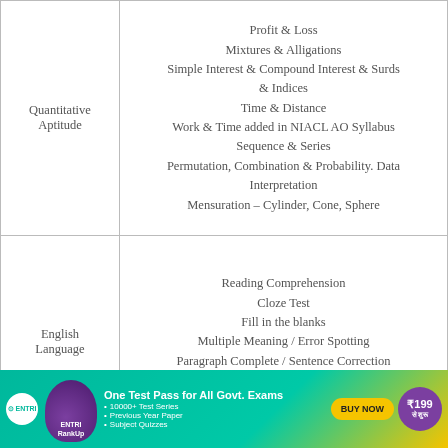| Subject | Topics |
| --- | --- |
| Quantitative Aptitude | Profit & Loss
Mixtures & Alligations
Simple Interest & Compound Interest & Surds & Indices
Time & Distance
Work & Time added in NIACL AO Syllabus
Sequence & Series
Permutation, Combination & Probability. Data Interpretation
Mensuration – Cylinder, Cone, Sphere |
| English Language | Reading Comprehension
Cloze Test
Fill in the blanks
Multiple Meaning / Error Spotting
Paragraph Complete / Sentence Correction
Para jumbles
Miscellaneous |
|  | Current Affairs
Summits
Books & Authors |
[Figure (infographic): ENTRI RankUp advertisement banner with teal/gold gradient background. Shows ENTRI logo, mascot, headline 'One Test Pass for All Govt. Exams', bullet points '10000+ Test Series', 'Previous Year Paper', 'Subject Quizzes', BUY NOW button, and price ₹199 से शुरू.]